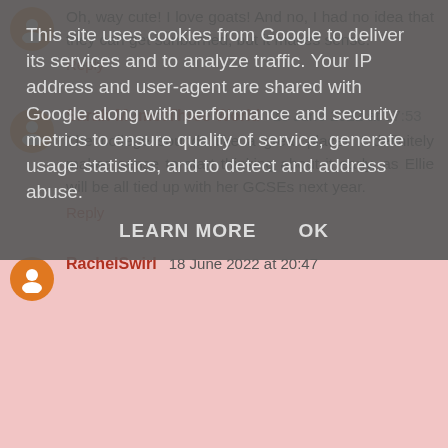Oh, way cute! I love goats! And no, I had no idea that they can get sunburned, but it makes sense.
Reply
Sarah MumofThree World  18 June 2022 at 07:53
The college sounds like a great place! It definitely makes sense to start thinking about it early, as Ellie will be all tied up with her GCSEs next year.
Reply
RachelSwirl  18 June 2022 at 20:47
This site uses cookies from Google to deliver its services and to analyze traffic. Your IP address and user-agent are shared with Google along with performance and security metrics to ensure quality of service, generate usage statistics, and to detect and address abuse.
LEARN MORE    OK